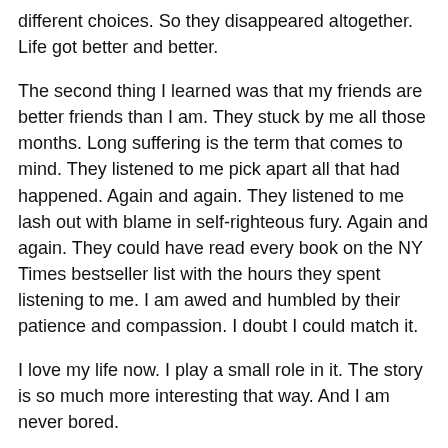different choices. So they disappeared altogether. Life got better and better.
The second thing I learned was that my friends are better friends than I am. They stuck by me all those months. Long suffering is the term that comes to mind. They listened to me pick apart all that had happened. Again and again. They listened to me lash out with blame in self-righteous fury. Again and again. They could have read every book on the NY Times bestseller list with the hours they spent listening to me. I am awed and humbled by their patience and compassion. I doubt I could match it.
I love my life now. I play a small role in it. The story is so much more interesting that way. And I am never bored.
Related posts: It's Not About You; God Bless That Ol' @#&!
Galen Pearl at 9:39 AM
Share
1